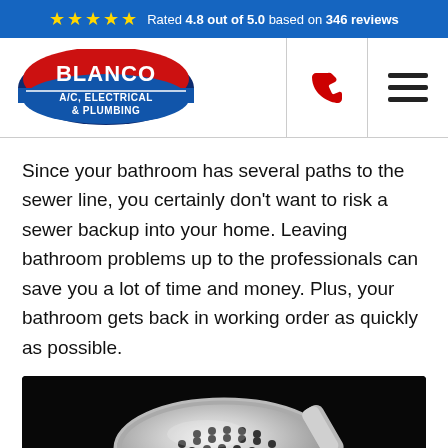Rated 4.8 out of 5.0 based on 346 reviews
[Figure (logo): Blanco A/C, Electrical & Plumbing company logo — red and blue oval with white text]
Since your bathroom has several paths to the sewer line, you certainly don't want to risk a sewer backup into your home. Leaving bathroom problems up to the professionals can save you a lot of time and money. Plus, your bathroom gets back in working order as quickly as possible.
[Figure (photo): Close-up photo of a chrome shower head against a dark black background]